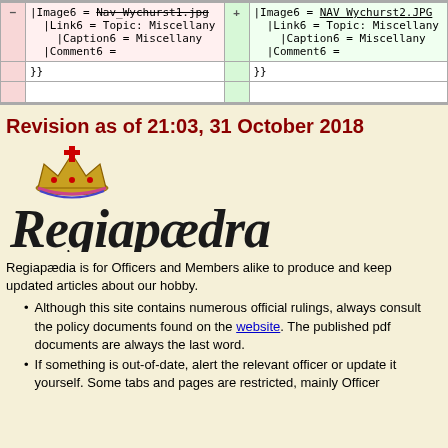| |Image6 = Nav_Wychurst1.jpg
|Link6 = Topic: Miscellany
|Caption6 = Miscellany
|Comment6 = | -/+ | |Image6 = NAV Wychurst2.JPG
|Link6 = Topic: Miscellany
|Caption6 = Miscellany
|Comment6 = |
| }} |  | }} |
|  |  |  |
Revision as of 21:03, 31 October 2018
[Figure (logo): Regiapædia logo with crown above gothic text]
Regiapædia is for Officers and Members alike to produce and keep updated articles about our hobby.
Although this site contains numerous official rulings, always consult the policy documents found on the website. The published pdf documents are always the last word.
If something is out-of-date, alert the relevant officer or update it yourself. Some tabs and pages are restricted, mainly Officer